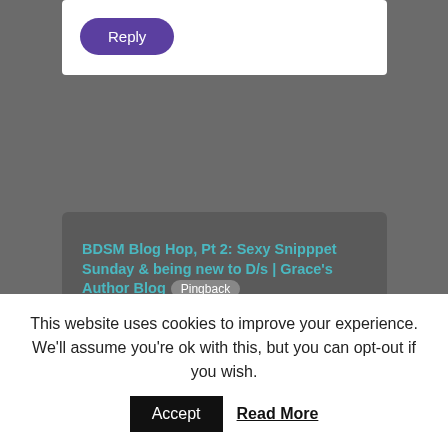Reply
BDSM Blog Hop, Pt 2: Sexy Snipppet Sunday & being new to D/s | Grace's Author Blog Pingback
July 6, 2014 - 2:21 pm
[…] your thoughts on the scene at the bottom for a chance to win one of my books. 🙂 (See the original BDSM blog post here for […]
Reply
This website uses cookies to improve your experience. We'll assume you're ok with this, but you can opt-out if you wish.
Accept
Read More